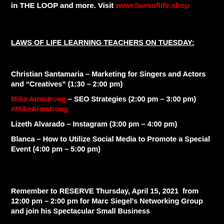in THE LOOP and more. Visit www.lawsoflife.shop
LAWS OF LIFE LEARNING TEACHERS ON TUESDAY:
Christian Santamaria – Marketing for Singers and Actors and “Creatives” (1:30 – 2:00 pm)
Mike Armstrong – SEO Strategies (2:00 pm – 3:00 pm) #MikeArmstrong
Lizeth Alvarado – Instagram (3:00 pm – 4:00 pm)
Blanca – How to Utilize Social Media to Promote a Special Event (4:00 pm – 5:00 pm)
Remember to RESERVE Thursday, April 15, 2021  from 12:00 pm – 2:00 pm for Marc Siegel’s Networking Group and join his Spectacular Small Business